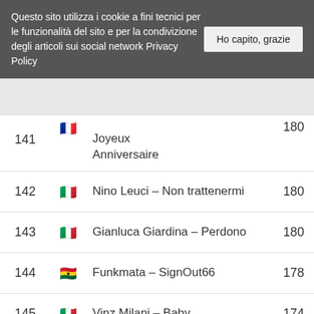Questo sito utilizza i cookie a fini tecnici per le funzionalità del sito e per la condivizione degli articoli sui social network Privacy Policy  Ho capito, grazie
| # | Flag | Title | Score |
| --- | --- | --- | --- |
| 141 | 🇫🇷 | Joyeux Anniversaire | 180 |
| 142 | 🇮🇹 | Nino Leuci – Non trattenermi | 180 |
| 143 | 🇮🇹 | Gianluca Giardina – Perdono | 180 |
| 144 | 🇬🇭 | Funkmata – SignOut66 | 178 |
| 145 | 🇮🇹 | Vinz Milani – Baby | 174 |